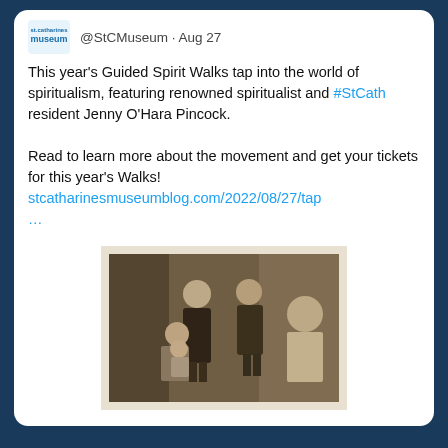@StCMuseum · Aug 27
This year's Guided Spirit Walks tap into the world of spiritualism, featuring renowned spiritualist and #StCath resident Jenny O'Hara Pincock.

Read to learn more about the movement and get your tickets for this year's Walks!
stcatharinesmuseumblog.com/2022/08/27/tap…
[Figure (photo): Vintage sepia-toned photograph showing a group of people: two men standing in the back, a woman seated holding a child, and a woman on the right side, in an interior setting.]